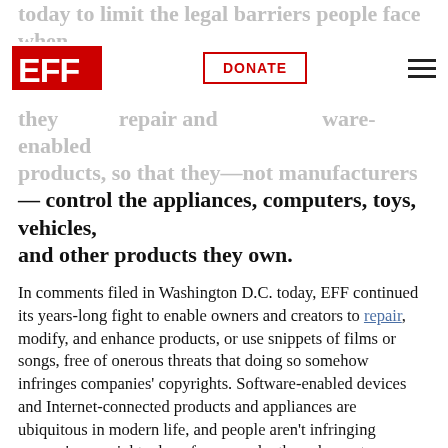EFF | DONATE
today to limit the legal barriers people face when they repair and modify software-enabled products, so that they—not manufacturers — control the appliances, computers, toys, vehicles, and other products they own.
In comments filed in Washington D.C. today, EFF continued its years-long fight to enable owners and creators to repair, modify, and enhance products, or use snippets of films or songs, free of onerous threats that doing so somehow infringes companies' copyrights. Software-enabled devices and Internet-connected products and appliances are ubiquitous in modern life, and people aren't infringing anyone's copyright when, for example, they choose to permanently disable the embedded, on-all-the-time camera or microphone in their kids' toys, or send their car to their favorite mechanic, rather than high-priced dealerships, to